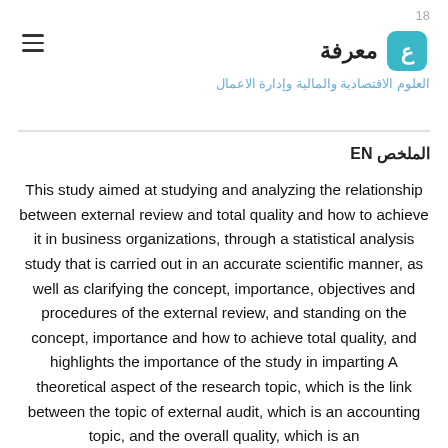18
معرفة | العلوم الاقتصادية والمالية وإدارة الاعمال
الملخص EN
This study aimed at studying and analyzing the relationship between external review and total quality and how to achieve it in business organizations, through a statistical analysis study that is carried out in an accurate scientific manner, as well as clarifying the concept, importance, objectives and procedures of the external review, and standing on the concept, importance and how to achieve total quality, and highlights the importance of the study in imparting A theoretical aspect of the research topic, which is the link between the topic of external audit, which is an accounting topic, and the overall quality, which is an